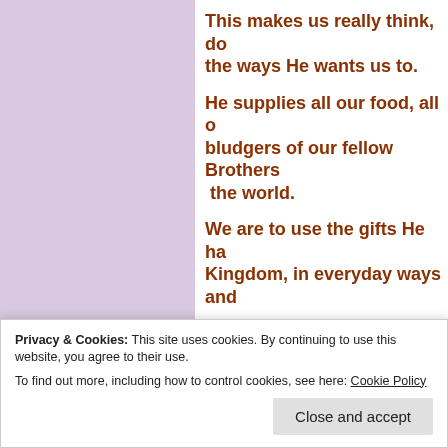This makes us really think, do we live in the ways He wants us to.
He supplies all our food, all our needs, bludgers of our fellow Brothers and Sisters in the world.
We are to use the gifts He has given for His Kingdom, in everyday ways and
****
So there we are – whether our
need to get on and do it.  Not
Privacy & Cookies: This site uses cookies. By continuing to use this website, you agree to their use. To find out more, including how to control cookies, see here: Cookie Policy
Close and accept